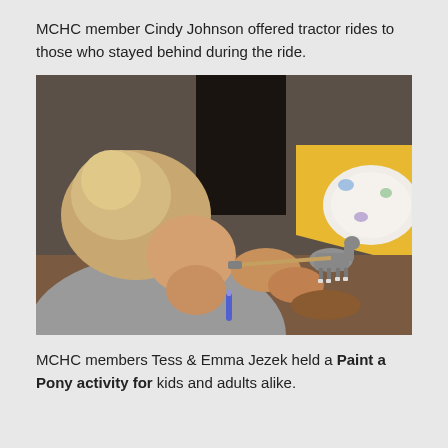MCHC member Cindy Johnson offered tractor rides to those who stayed behind during the ride.
[Figure (photo): A person leaning over a small grey horse figurine, carefully painting it with a brush. There is a decorative plate and a yellow surface visible in the background.]
MCHC members Tess & Emma Jezek held a Paint a Pony activity for kids and adults alike.